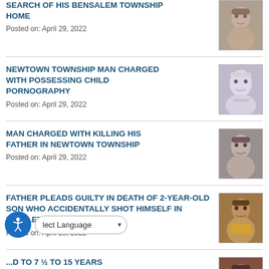SEARCH OF HIS BENSALEM TOWNSHIP HOME
Posted on: April 29, 2022
NEWTOWN TOWNSHIP MAN CHARGED WITH POSSESSING CHILD PORNOGRAPHY
Posted on: April 29, 2022
MAN CHARGED WITH KILLING HIS FATHER IN NEWTOWN TOWNSHIP
Posted on: April 29, 2022
FATHER PLEADS GUILTY IN DEATH OF 2-YEAR-OLD SON WHO ACCIDENTALLY SHOT HIMSELF IN MIDDLETOWN TOWNSHIP
Posted on: April 28, 2022
...D TO 7 ½ TO 15 YEARS IN STATE PRISON FOR FIRING SEVERAL SHOTS AT MIDDLETOWN APARTMENT